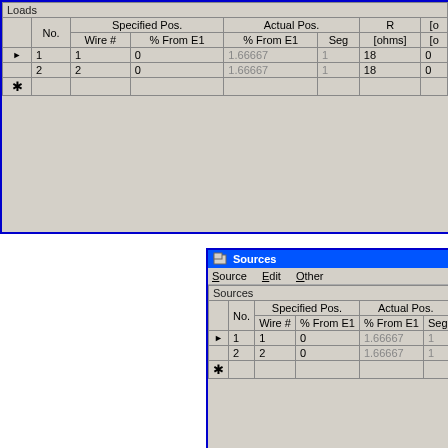[Figure (screenshot): Loads window: a software dialog showing a table of loads with columns No., Specified Pos. (Wire #, % From E1), Actual Pos. (% From E1, Seg), R (ohms), and additional column cut off. Two data rows: row 1 (Wire#=1, 0, 1.66667, 1, 18, 0) and row 2 (Wire#=2, 0, 1.66667, 1, 18, 0), plus a new-entry row.]
[Figure (screenshot): Sources window: a software dialog with menu bar (Source, Edit, Other) and a table of sources with columns No., Specified Pos. (Wire #, % From E1), Actual Pos. (% From E1, Seg), Amplitude (V,A), P (d...). Two data rows: row 1 (Wire#=1, 0, 1.66667, 1, 1, 0) and row 2 (Wire#=2, 0, 1.66667, 1, 1, -9...), plus a new-entry row.]